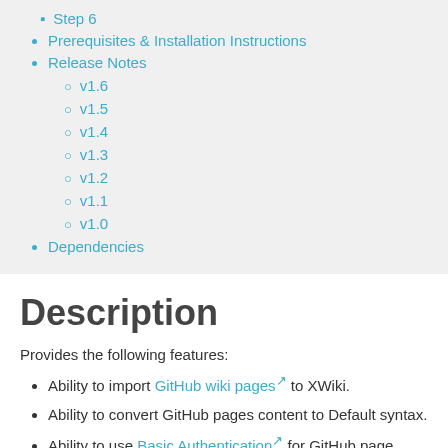Step 6
Prerequisites & Installation Instructions
Release Notes
v1.6
v1.5
v1.4
v1.3
v1.2
v1.1
v1.0
Dependencies
Description
Provides the following features:
Ability to import GitHub wiki pages to XWiki.
Ability to convert GitHub pages content to Default syntax.
Ability to use Basic Authentication for GitHub page